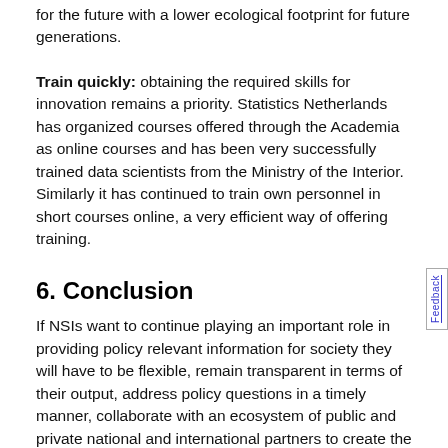for the future with a lower ecological footprint for future generations.
Train quickly: obtaining the required skills for innovation remains a priority. Statistics Netherlands has organized courses offered through the Academia as online courses and has been very successfully trained data scientists from the Ministry of the Interior. Similarly it has continued to train own personnel in short courses online, a very efficient way of offering training.
6. Conclusion
If NSIs want to continue playing an important role in providing policy relevant information for society they will have to be flexible, remain transparent in terms of their output, address policy questions in a timely manner, collaborate with an ecosystem of public and private national and international partners to create the added value of data and use state of the art technologies. Other private parties